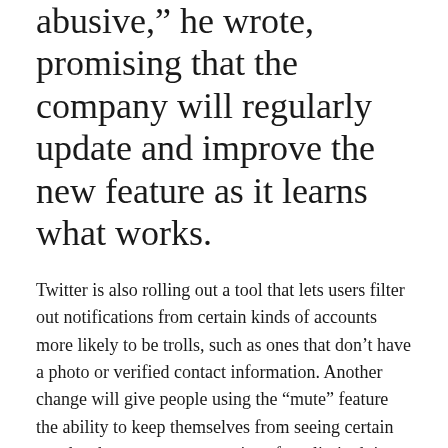abusive," he wrote, promising that the company will regularly update and improve the new feature as it learns what works.
Twitter is also rolling out a tool that lets users filter out notifications from certain kinds of accounts more likely to be trolls, such as ones that don’t have a photo or verified contact information. Another change will give people using the “mute” feature the ability to keep themselves from seeing certain words, phrases, or conversations for a limited time period—a welcome option for someone who’s at the center of an angry tweetstorm about penguins, say, but wants to resume seeing penguin tweets after the storm has passed.